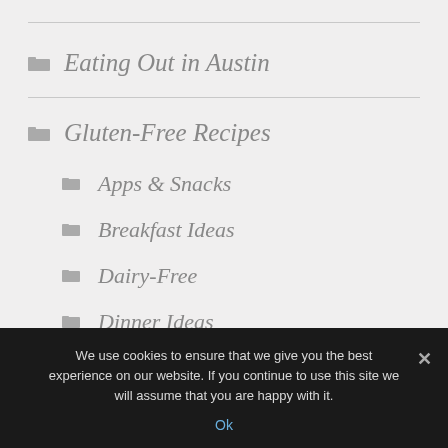Eating Out in Austin
Gluten-Free Recipes
Apps & Snacks
Breakfast Ideas
Dairy-Free
Dinner Ideas
We use cookies to ensure that we give you the best experience on our website. If you continue to use this site we will assume that you are happy with it.
Ok